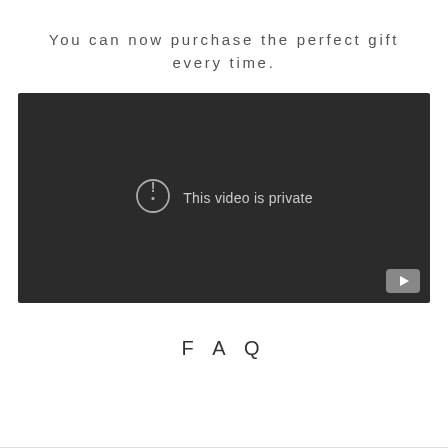You can now purchase the perfect gift every time.
[Figure (screenshot): Embedded video player with dark background showing 'This video is private' message with a warning icon and a YouTube play button in the bottom-right corner.]
FAQ